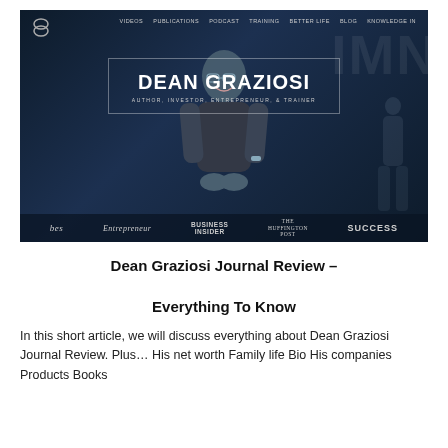[Figure (screenshot): Screenshot of Dean Graziosi's website hero section showing a man in a dark t-shirt with glasses smiling, overlaid with large text 'DEAN GRAZIOSI' and subtitle 'AUTHOR, INVESTOR, ENTREPRENEUR, & TRAINER'. Navigation bar at top with links: VIDEOS, PUBLICATIONS, PODCAST, TRAINING, BETTER LIFE, BLOG, KNOWLEDGE IN... Bottom bar shows media logos: bes, Entrepreneur, BUSINESS INSIDER, THE HUFFINGTON POST, SUCCESS.]
Dean Graziosi Journal Review - Everything To Know
In this short article, we will discuss everything about Dean Graziosi Journal Review. Plus... His net worth Family life Bio His companies Products Books